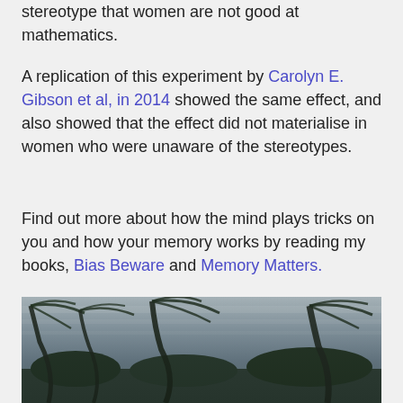stereotype that women are not good at mathematics.
A replication of this experiment by Carolyn E. Gibson et al, in 2014 showed the same effect, and also showed that the effect did not materialise in women who were unaware of the stereotypes.
Find out more about how the mind plays tricks on you and how your memory works by reading my books, Bias Beware and Memory Matters.
[Figure (photo): Photo of palm trees bending in a strong storm or hurricane, with heavy wind and rain, misty grey sky background]